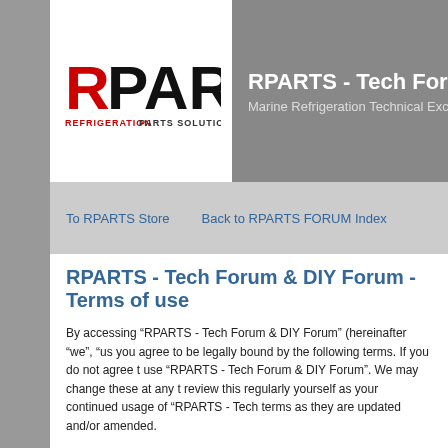RPARTS - Tech Forum & DIY Forum | Marine Refrigeration Technical Exchange
To RPARTS Store | Back to RPARTS FORUM Index
RPARTS - Tech Forum & DIY Forum - Terms of use
By accessing "RPARTS - Tech Forum & DIY Forum" (hereinafter "we", "us", you agree to be legally bound by the following terms. If you do not agree to use "RPARTS - Tech Forum & DIY Forum". We may change these at any time, review this regularly yourself as your continued usage of "RPARTS - Tech terms as they are updated and/or amended.
Our forums are powered by phpBB (hereinafter "they", "them", "their", "php bulletin board solution released under the "General Public License" (herei only facilitates internet based discussions, the phpBB Group are not respo. For further information about phpBB, please see: http://www.phpbb.com/.
You agree not to post any abusive, obscene, vulgar, slanderous, hateful, it of your country, the country where "RPARTS - Tech Forum & DIY Forum